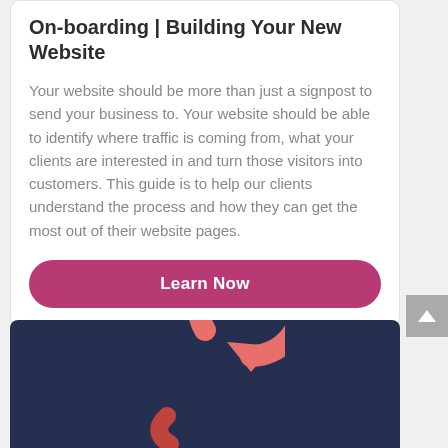On-boarding | Building Your New Website
Your website should be more than just a signpost to send your business to. Your website should be able to identify where traffic is coming from, what your clients are interested in and turn those visitors into customers. This guide is to help our clients understand the process and how they can get the most out of their website pages.
[Figure (illustration): A coral/salmon colored circular arrow icon (reload/refresh symbol) on a dark navy background]